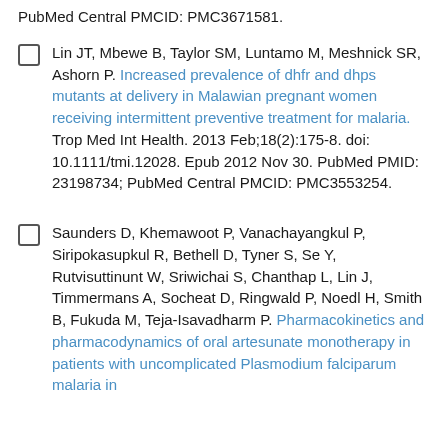PubMed Central PMCID: PMC3671581.
Lin JT, Mbewe B, Taylor SM, Luntamo M, Meshnick SR, Ashorn P. Increased prevalence of dhfr and dhps mutants at delivery in Malawian pregnant women receiving intermittent preventive treatment for malaria. Trop Med Int Health. 2013 Feb;18(2):175-8. doi: 10.1111/tmi.12028. Epub 2012 Nov 30. PubMed PMID: 23198734; PubMed Central PMCID: PMC3553254.
Saunders D, Khemawoot P, Vanachayangkul P, Siripokasupkul R, Bethell D, Tyner S, Se Y, Rutvisuttinunt W, Sriwichai S, Chanthap L, Lin J, Timmermans A, Socheat D, Ringwald P, Noedl H, Smith B, Fukuda M, Teja-Isavadharm P. Pharmacokinetics and pharmacodynamics of oral artesunate monotherapy in patients with uncomplicated Plasmodium falciparum malaria in Cambodia. Antimicrob Agents Chemother...